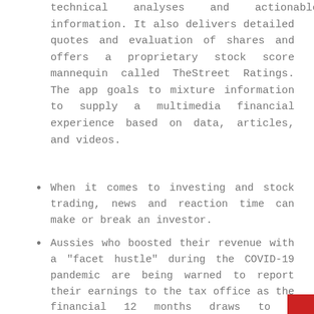technical analyses and actionable information. It also delivers detailed quotes and evaluation of shares and offers a proprietary stock score mannequin called TheStreet Ratings. The app goals to mixture information to supply a multimedia financial experience based on data, articles, and videos.
When it comes to investing and stock trading, news and reaction time can make or break an investor.
Aussies who boosted their revenue with a "facet hustle" during the COVID-19 pandemic are being warned to report their earnings to the tax office as the financial 12 months draws to a detailed.
£6m funding in capital tools for industry R&D Business